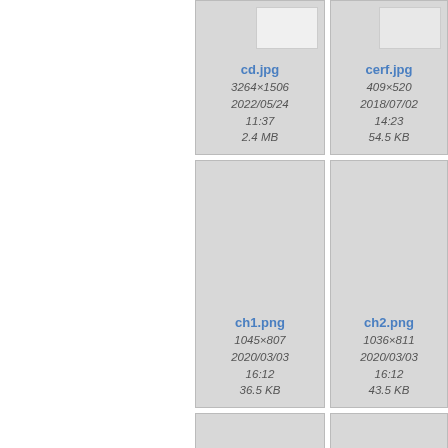[Figure (screenshot): File browser thumbnail grid showing image files with metadata. Row 1: cd.jpg (3264×1506, 2022/05/24 11:37, 2.4 MB), cerf.jpg (409×520, 2018/07/02 14:23, 54.5 KB), partial third entry. Row 2: ch1.png (1045×807, 2020/03/03 16:12, 36.5 KB), ch2.png (1036×811, 2020/03/03 16:12, 43.5 KB), partial third entry. Row 3: two partial entries at bottom.]